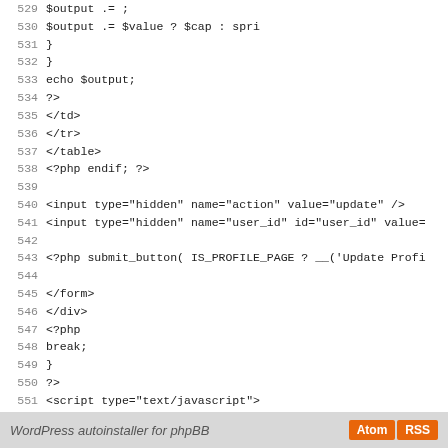Code listing lines 529-557: PHP/HTML source code snippet from WordPress admin user profile page
WordPress autoinstaller for phpBB   Atom  RSS